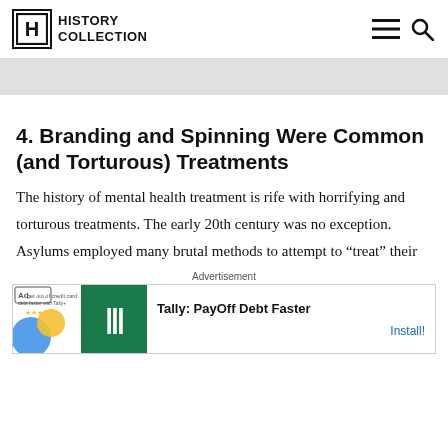HISTORY COLLECTION
[Figure (other): Grey advertisement banner placeholder]
4. Branding and Spinning Were Common (and Torturous) Treatments
The history of mental health treatment is rife with horrifying and torturous treatments. The early 20th century was no exception. Asylums employed many brutal methods to attempt to “treat” their
Advertisement
[Figure (screenshot): Ad unit: Tally: PayOff Debt Faster — Install!]